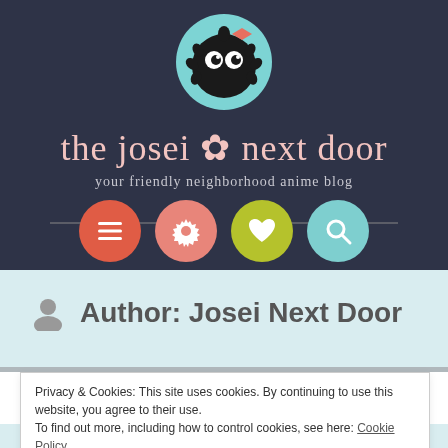[Figure (logo): Header of 'The Josei Next Door' anime blog with dark navy background, soot sprite mascot in teal circle with bow, decorative cursive text logo, and subtitle 'your friendly neighborhood anime blog']
[Figure (infographic): Four circular navigation buttons: red menu (hamburger), pink gear/settings, yellow-green heart/favorites, teal search (magnifying glass)]
Author: Josei Next Door
Privacy & Cookies: This site uses cookies. By continuing to use this website, you agree to their use.
To find out more, including how to control cookies, see here: Cookie Policy
Close and accept
and a basketball fan. I have